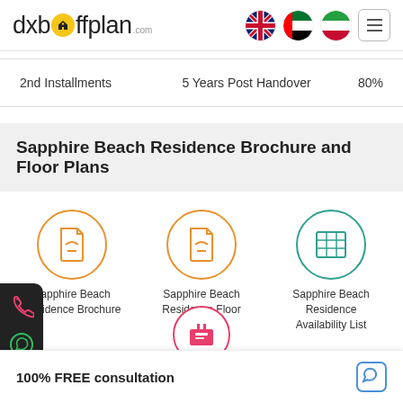[Figure (logo): dxboffplan.com logo with yellow circular icon]
[Figure (illustration): UK flag, UAE flag, Iran flag circles; hamburger menu button]
|  |  |  |
| --- | --- | --- |
| 2nd Installments | 5 Years Post Handover | 80% |
Sapphire Beach Residence Brochure and Floor Plans
[Figure (illustration): Orange circle with PDF document icon - Sapphire Beach Residence Brochure]
Sapphire Beach Residence Brochure
[Figure (illustration): Orange circle with PDF document icon - Sapphire Beach Residence Floor Plan]
Sapphire Beach Residence Floor Plan
[Figure (illustration): Teal circle with grid/table icon - Sapphire Beach Residence Availability List]
Sapphire Beach Residence Availability List
100% FREE consultation